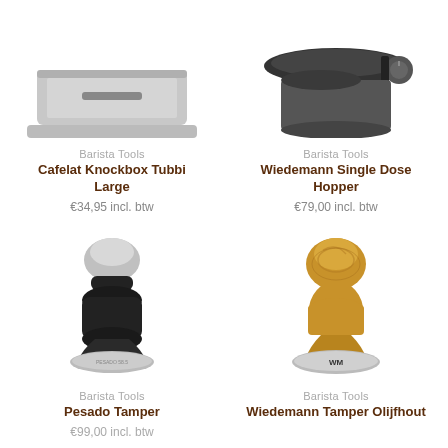[Figure (photo): Cafelat Knockbox Tubbi Large product photo, partially cropped at top]
Barista Tools
Cafelat Knockbox Tubbi Large
€34,95 incl. btw
[Figure (photo): Wiedemann Single Dose Hopper product photo, partially cropped at top]
Barista Tools
Wiedemann Single Dose Hopper
€79,00 incl. btw
[Figure (photo): Pesado Tamper product photo, silver and black espresso tamper]
Barista Tools
Pesado Tamper
€99,00 incl. btw
[Figure (photo): Wiedemann Tamper Olijfhout product photo, wood and silver espresso tamper]
Barista Tools
Wiedemann Tamper Olijfhout